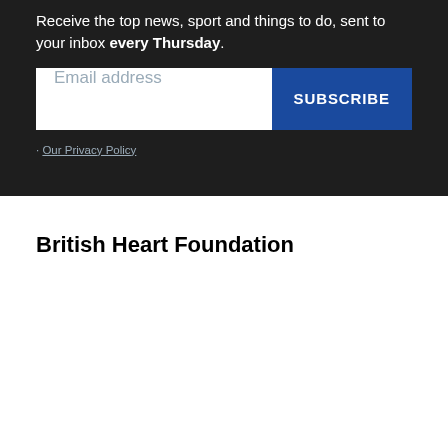Receive the top news, sport and things to do, sent to your inbox every Thursday.
Email address
SUBSCRIBE
Our Privacy Policy
British Heart Foundation